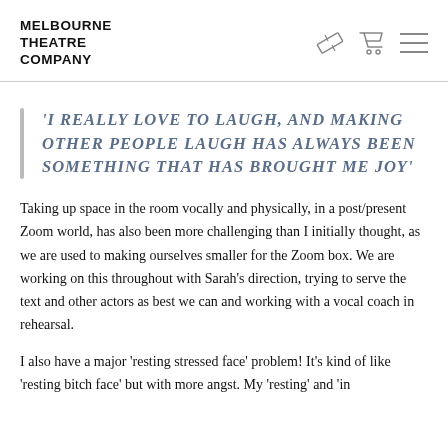MELBOURNE THEATRE COMPANY
'I REALLY LOVE TO LAUGH, AND MAKING OTHER PEOPLE LAUGH HAS ALWAYS BEEN SOMETHING THAT HAS BROUGHT ME JOY'
Taking up space in the room vocally and physically, in a post/present Zoom world, has also been more challenging than I initially thought, as we are used to making ourselves smaller for the Zoom box. We are working on this throughout with Sarah's direction, trying to serve the text and other actors as best we can and working with a vocal coach in rehearsal.
I also have a major 'resting stressed face' problem! It's kind of like 'resting bitch face' but with more angst. My 'resting' and 'in character' face are often confused for a stressed face or biting...